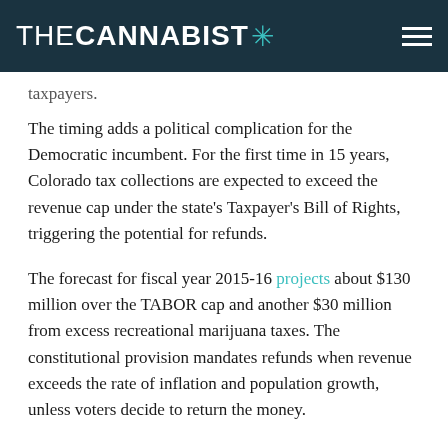THE CANNABIST *
taxpayers.
The timing adds a political complication for the Democratic incumbent. For the first time in 15 years, Colorado tax collections are expected to exceed the revenue cap under the state's Taxpayer's Bill of Rights, triggering the potential for refunds.
The forecast for fiscal year 2015-16 projects about $130 million over the TABOR cap and another $30 million from excess recreational marijuana taxes. The constitutional provision mandates refunds when revenue exceeds the rate of inflation and population growth, unless voters decide to return the money.
The possibility of a refund indicates the state's economy is rebounding, but state government programs are still recovering from years of spending cuts.